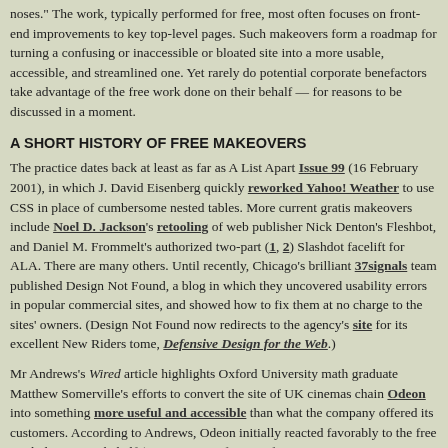noses." The work, typically performed for free, most often focuses on front-end improvements to key top-level pages. Such makeovers form a roadmap for turning a confusing or inaccessible or bloated site into a more usable, accessible, and streamlined one. Yet rarely do potential corporate benefactors take advantage of the free work done on their behalf — for reasons to be discussed in a moment.
A SHORT HISTORY OF FREE MAKEOVERS
The practice dates back at least as far as A List Apart Issue 99 (16 February 2001), in which J. David Eisenberg quickly reworked Yahoo! Weather to use CSS in place of cumbersome nested tables. More current gratis makeovers include Noel D. Jackson's retooling of web publisher Nick Denton's Fleshbot, and Daniel M. Frommelt's authorized two-part (1, 2) Slashdot facelift for ALA. There are many others. Until recently, Chicago's brilliant 37signals team published Design Not Found, a blog in which they uncovered usability errors in popular commercial sites, and showed how to fix them at no charge to the sites' owners. (Design Not Found now redirects to the agency's site for its excellent New Riders tome, Defensive Design for the Web.)
Mr Andrews's Wired article highlights Oxford University math graduate Matthew Somerville's efforts to convert the site of UK cinemas chain Odeon into something more useful and accessible than what the company offered its customers. According to Andrews, Odeon initially reacted favorably to the free work done on its behalf (even going so far as to fix some its site's worst